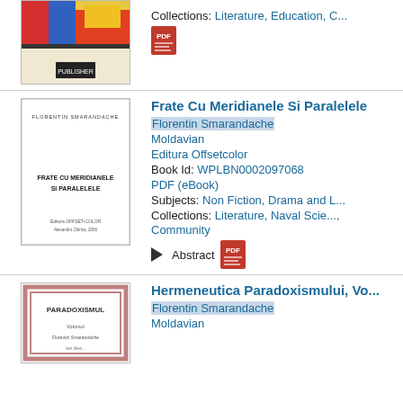[Figure (other): Book cover image (partial, top entry) with colorful abstract design and small publisher logo at bottom]
Collections: Literature, Education, C...
[Figure (other): PDF icon]
[Figure (other): Book cover for 'Frate Cu Meridianele Si Paralelele' by Florentin Smarandache, published by Editura Offsetcolor]
Frate Cu Meridianele Si Paralelele
Florentin Smarandache
Moldavian
Editura Offsetcolor
Book Id: WPLBN0002097068
PDF (eBook)
Subjects: Non Fiction, Drama and L...
Collections: Literature, Naval Scie..., Community
Abstract
[Figure (other): PDF icon]
[Figure (other): Book cover for 'Hermeneutica Paradoxismului, Vo...' by Florentin Smarandache (partial, bottom entry)]
Hermeneutica Paradoxismului, Vo...
Florentin Smarandache
Moldavian